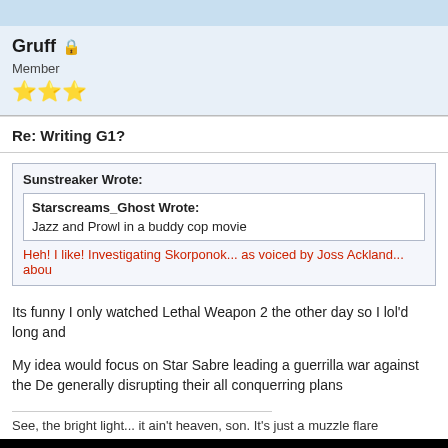Gruff 🔒
Member
⭐⭐⭐
Re: Writing G1?
Sunstreaker Wrote:
Starscreams_Ghost Wrote:
Jazz and Prowl in a buddy cop movie
Heh! I like! Investigating Skorponok... as voiced by Joss Ackland... abou
Its funny I only watched Lethal Weapon 2 the other day so I lol'd long and
My idea would focus on Star Sabre leading a guerrilla war against the De generally disrupting their all conquerring plans
See, the bright light... it ain't heaven, son. It's just a muzzle flare
[Figure (photo): Black background with white large text/logo at the bottom of the post]